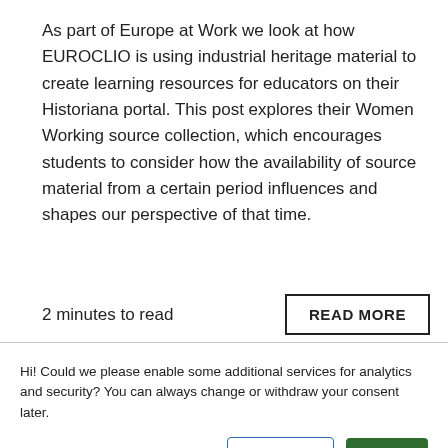As part of Europe at Work we look at how EUROCLIO is using industrial heritage material to create learning resources for educators on their Historiana portal. This post explores their Women Working source collection, which encourages students to consider how the availability of source material from a certain period influences and shapes our perspective of that time.
2 minutes to read
READ MORE
Hi! Could we please enable some additional services for analytics and security? You can always change or withdraw your consent later.
Let me choose
I DECLINE
OKAY